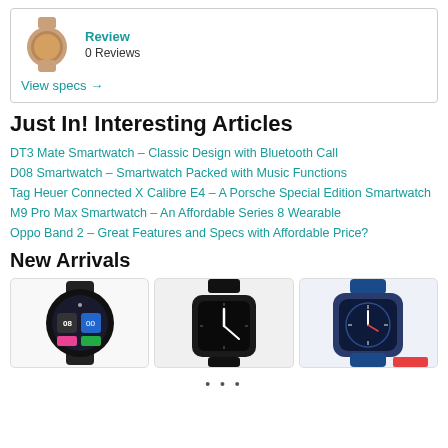0 Reviews
View specs →
Just In! Interesting Articles
DT3 Mate Smartwatch – Classic Design with Bluetooth Call
D08 Smartwatch – Smartwatch Packed with Music Functions
Tag Heuer Connected X Calibre E4 – A Porsche Special Edition Smartwatch
M9 Pro Max Smartwatch – An Affordable Series 8 Wearable
Oppo Band 2 – Great Features and Specs with Affordable Price?
New Arrivals
[Figure (photo): Black smartwatch with colorful round display showing time 08:00]
[Figure (photo): Black square smartwatch with dark dial and arrow hands]
[Figure (photo): Smartwatch with blue band and round dial showing analog time]